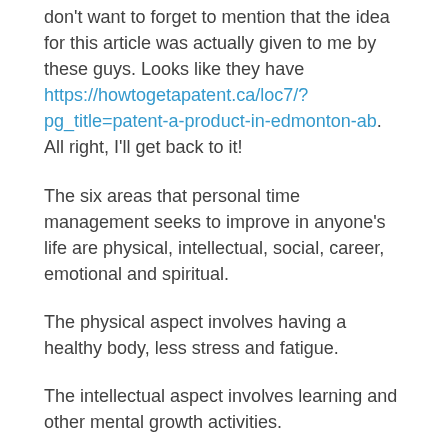don't want to forget to mention that the idea for this article was actually given to me by these guys. Looks like they have https://howtogetapatent.ca/loc7/?pg_title=patent-a-product-in-edmonton-ab. All right, I'll get back to it!
The six areas that personal time management seeks to improve in anyone's life are physical, intellectual, social, career, emotional and spiritual.
The physical aspect involves having a healthy body, less stress and fatigue.
The intellectual aspect involves learning and other mental growth activities.
The social aspect involves developing personal or intimate relations and being an active contributor to